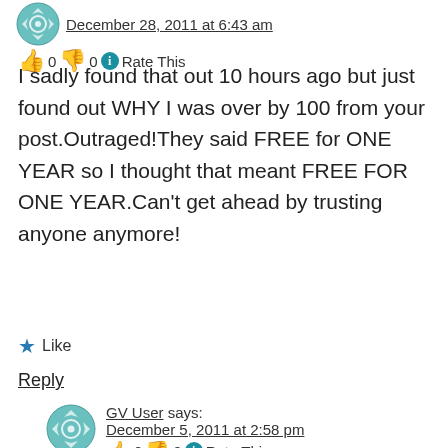December 28, 2011 at 6:43 am
0  0  Rate This
I sadly found that out 10 hours ago but just found out WHY I was over by 100 from your post.Outraged!They said FREE for ONE YEAR so I thought that meant FREE FOR ONE YEAR.Can't get ahead by trusting anyone anymore!
Like
Reply
GV User says:
December 5, 2011 at 2:58 pm
0  0  Rate This